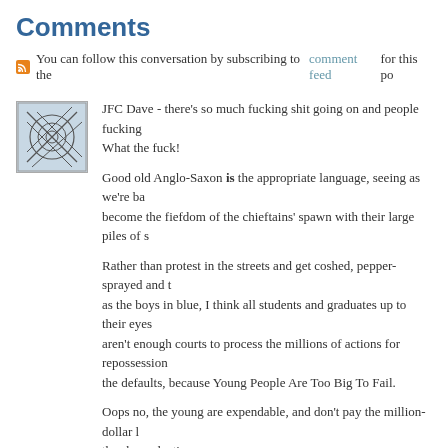Comments
You can follow this conversation by subscribing to the comment feed for this po
JFC Dave - there's so much fucking shit going on and people fucking
What the fuck!

Good old Anglo-Saxon is the appropriate language, seeing as we're ba become the fiefdom of the chieftains' spawn with their large piles of s

Rather than protest in the streets and get coshed, pepper-sprayed and t as the boys in blue, I think all students and graduates up to their eyes aren't enough courts to process the millions of actions for repossession the defaults, because Young People Are Too Big To Fail.

Oops no, the young are expendable, and don't pay the million-dollar l the sham election.

In summary: FUCK!!!!!!!
Posted by: Oliver | 10/22/2012 at 11:37 AM
Next »
The comments to this entry are closed.
Darling of the Empire | Powered by TypePad